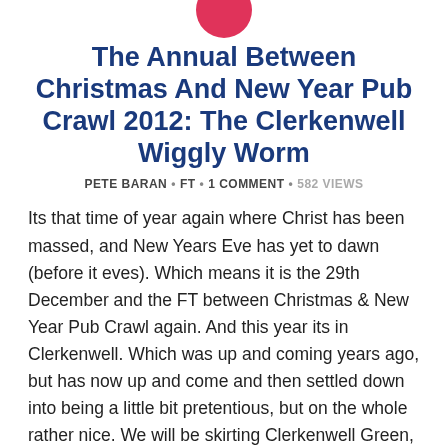[Figure (logo): Red circle logo/icon at top center]
The Annual Between Christmas And New Year Pub Crawl 2012: The Clerkenwell Wiggly Worm
PETE BARAN • FT • 1 COMMENT • 582 VIEWS
Its that time of year again where Christ has been massed, and New Years Eve has yet to dawn (before it eves). Which means it is the 29th December and the FT between Christmas & New Year Pub Crawl again. And this year its in Clerkenwell. Which was up and coming years ago, but has now up and come and then settled down into being a little bit pretentious, but on the whole rather nice. We will be skirting Clerkenwell Green, nipping past Mount Pleasant and going to a number of lovely pubs, many of which will be closed.